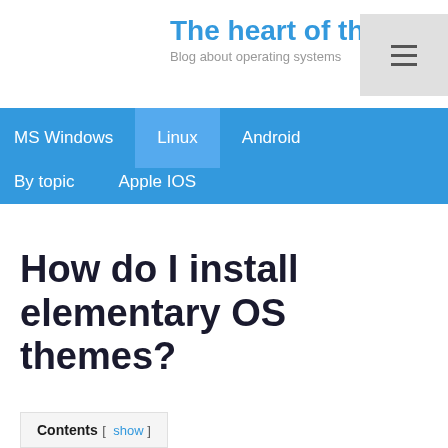The heart of the comp
Blog about operating systems
MS Windows  Linux  Android  By topic  Apple IOS
How do I install elementary OS themes?
Contents [ show ]